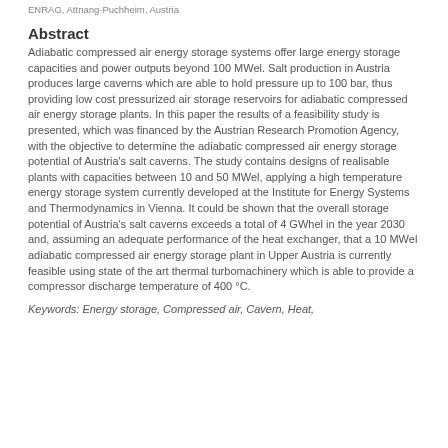ENRAG, Attnang-Puchheim, Austria
Abstract
Adiabatic compressed air energy storage systems offer large energy storage capacities and power outputs beyond 100 MWel. Salt production in Austria produces large caverns which are able to hold pressure up to 100 bar, thus providing low cost pressurized air storage reservoirs for adiabatic compressed air energy storage plants. In this paper the results of a feasibility study is presented, which was financed by the Austrian Research Promotion Agency, with the objective to determine the adiabatic compressed air energy storage potential of Austria's salt caverns. The study contains designs of realisable plants with capacities between 10 and 50 MWel, applying a high temperature energy storage system currently developed at the Institute for Energy Systems and Thermodynamics in Vienna. It could be shown that the overall storage potential of Austria's salt caverns exceeds a total of 4 GWhel in the year 2030 and, assuming an adequate performance of the heat exchanger, that a 10 MWel adiabatic compressed air energy storage plant in Upper Austria is currently feasible using state of the art thermal turbomachinery which is able to provide a compressor discharge temperature of 400 °C.
Keywords: Energy storage, Compressed air, Cavern, Heat,